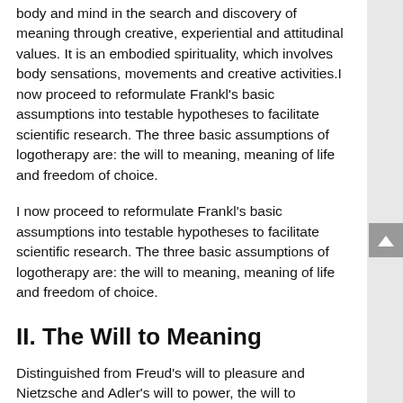body and mind in the search and discovery of meaning through creative, experiential and attitudinal values. It is an embodied spirituality, which involves body sensations, movements and creative activities.I now proceed to reformulate Frankl's basic assumptions into testable hypotheses to facilitate scientific research. The three basic assumptions of logotherapy are: the will to meaning, meaning of life and freedom of choice.
I now proceed to reformulate Frankl's basic assumptions into testable hypotheses to facilitate scientific research. The three basic assumptions of logotherapy are: the will to meaning, meaning of life and freedom of choice.
II. The Will to Meaning
Distinguished from Freud's will to pleasure and Nietzsche and Adler's will to power, the will to